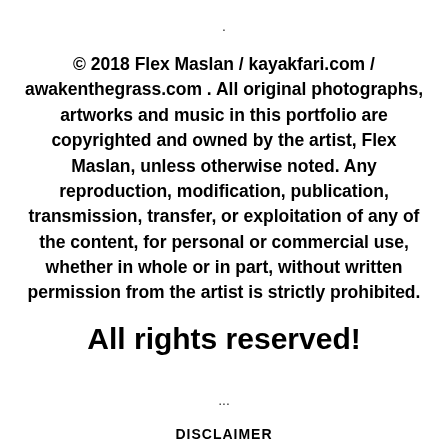.
© 2018 Flex Maslan / kayakfari.com / awakenthegrass.com . All original photographs, artworks and music in this portfolio are copyrighted and owned by the artist, Flex Maslan, unless otherwise noted. Any reproduction, modification, publication, transmission, transfer, or exploitation of any of the content, for personal or commercial use, whether in whole or in part, without written permission from the artist is strictly prohibited.
All rights reserved!
...
DISCLAIMER